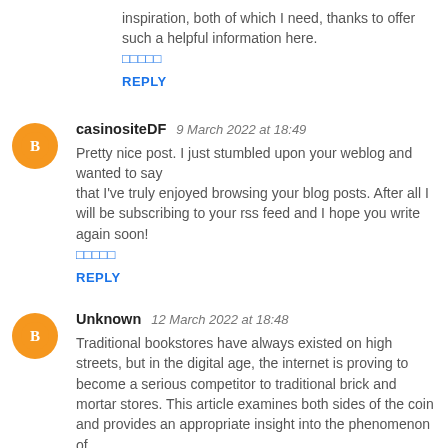inspiration, both of which I need, thanks to offer such a helpful information here.
🔲🔲🔲🔲🔲
REPLY
casinositeDF  9 March 2022 at 18:49
Pretty nice post. I just stumbled upon your weblog and wanted to say that I've truly enjoyed browsing your blog posts. After all I will be subscribing to your rss feed and I hope you write again soon!
🔲🔲🔲🔲🔲
REPLY
Unknown  12 March 2022 at 18:48
Traditional bookstores have always existed on high streets, but in the digital age, the internet is proving to become a serious competitor to traditional brick and mortar stores. This article examines both sides of the coin and provides an appropriate insight into the phenomenon of